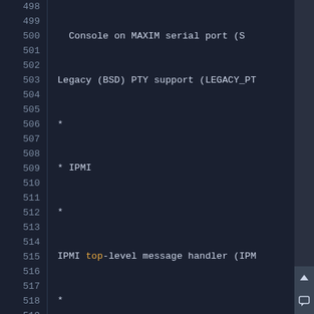[Figure (screenshot): Terminal/code editor showing Linux kernel configuration file lines 498-523 with line numbers on the left. Dark background with monospaced font. Shows configuration options including IPMI, Watchdog, TPM, I2C support entries.]